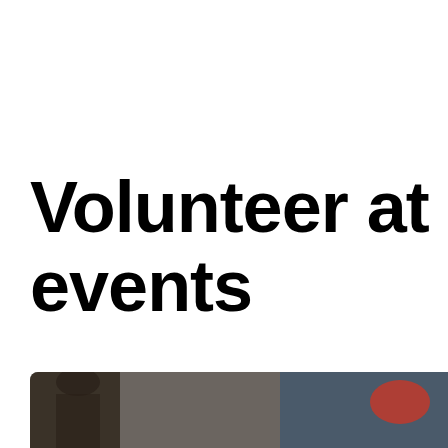Volunteer at events
[Figure (photo): Partial photo showing the top of a person's head and a red logo/badge, cropped at the bottom of the page.]